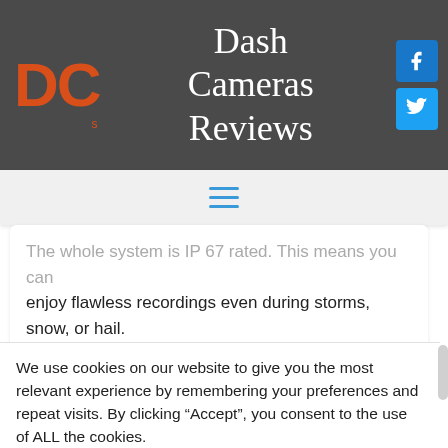Dash Cameras Reviews
[Figure (logo): DC logo in orange with website title 'Dash Cameras Reviews' and social media icons for Facebook and Twitter]
[Figure (other): Hamburger menu icon (three horizontal lines) in blue]
The whole system is IP 67 rated. This means you can enjoy flawless recordings even during storms, snow, or hail.
We use cookies on our website to give you the most relevant experience by remembering your preferences and repeat visits. By clicking “Accept”, you consent to the use of ALL the cookies.
Cookie settings
ACCEPT